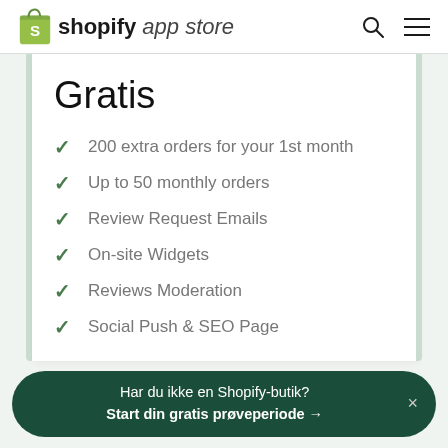shopify app store
Gratis
200 extra orders for your 1st month
Up to 50 monthly orders
Review Request Emails
On-site Widgets
Reviews Moderation
Social Push & SEO Page
Har du ikke en Shopify-butik? Start din gratis prøveperiode →